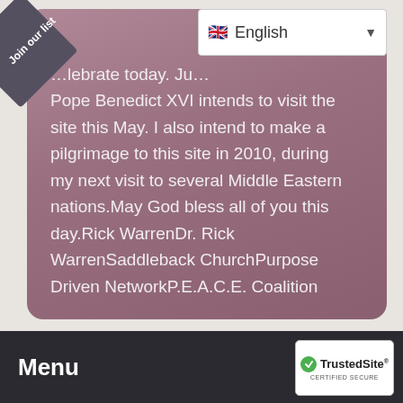[Figure (screenshot): Language selector dropdown showing English with UK flag]
...lebrate today. Ju... Pope Benedict XVI intends to visit the site this May. I also intend to make a pilgrimage to this site in 2010, during my next visit to several Middle Eastern nations.May God bless all of you this day.Rick WarrenDr. Rick WarrenSaddleback ChurchPurpose Driven NetworkP.E.A.C.E. Coalition
Menu
[Figure (logo): TrustedSite Certified Secure badge]